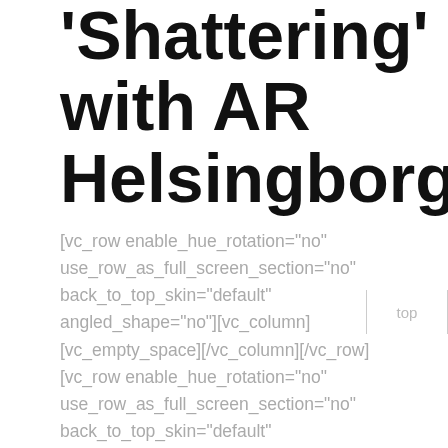'Shattering' with AR Helsingborg
[vc_row enable_hue_rotation="no" use_row_as_full_screen_section="no" back_to_top_skin="default" angled_shape="no"][vc_column][vc_empty_space][/vc_column][/vc_row][vc_row enable_hue_rotation="no" use_row_as_full_screen_section="no" back_to_top_skin="default" angled_shape="no"][vc_column width="2/3"][vc_column_text][/vc_column_text][/vc_column]